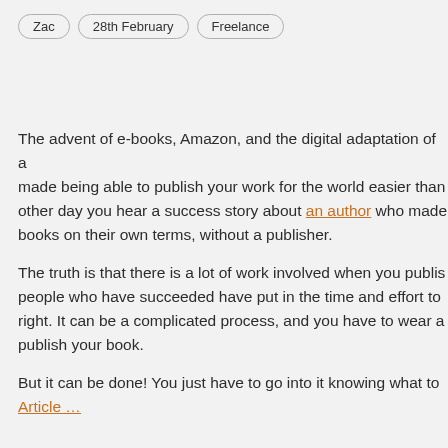Zac   28th February   Freelance
The advent of e-books, Amazon, and the digital adaptation of a made being able to publish your work for the world easier than other day you hear a success story about an author who made books on their own terms, without a publisher.
The truth is that there is a lot of work involved when you publis people who have succeeded have put in the time and effort to right. It can be a complicated process, and you have to wear a publish your book.
But it can be done! You just have to go into it knowing what to Article …